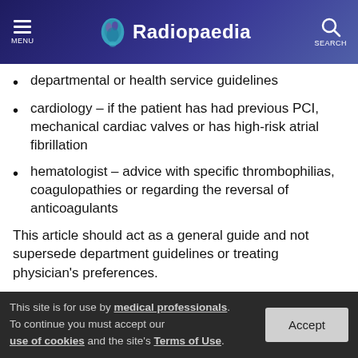Radiopaedia
departmental or health service guidelines
cardiology – if the patient has had previous PCI, mechanical cardiac valves or has high-risk atrial fibrillation
hematologist – advice with specific thrombophilias, coagulopathies or regarding the reversal of anticoagulants
This article should act as a general guide and not supersede department guidelines or treating physician's preferences.
This site is for use by medical professionals. To continue you must accept our use of cookies and the site's Terms of Use.